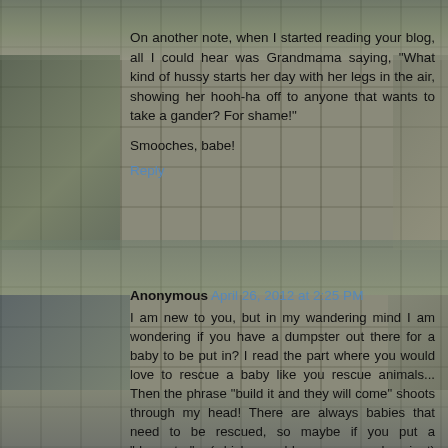[Figure (photo): Background collage of dumpster/trash bin photos arranged in a grid pattern, showing various dumpsters in outdoor settings.]
On another note, when I started reading your blog, all I could hear was Grandmama saying, "What kind of hussy starts her day with her legs in the air, showing her hooh-ha off to anyone that wants to take a gander? For shame!"
Smooches, babe!
Reply
Anonymous April 26, 2012 at 2:25 PM
I am new to you, but in my wandering mind I am wondering if you have a dumpster out there for a baby to be put in? I read the part where you would love to rescue a baby like you rescue animals... Then the phrase "build it and they will come" shoots through my head! There are always babies that need to be rescued, so maybe if you put a "dumpster" (which could mean a bassinet) somewhere then someone could give you exactly what you want!
Reply